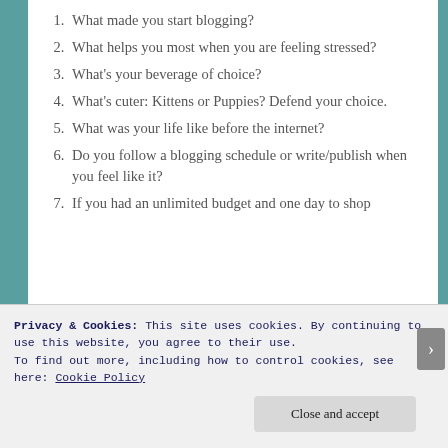1. What made you start blogging?
2. What helps you most when you are feeling stressed?
3. What's your beverage of choice?
4. What's cuter: Kittens or Puppies? Defend your choice.
5. What was your life like before the internet?
6. Do you follow a blogging schedule or write/publish when you feel like it?
7. If you had an unlimited budget and one day to shop
Privacy & Cookies: This site uses cookies. By continuing to use this website, you agree to their use.
To find out more, including how to control cookies, see here: Cookie Policy
Close and accept